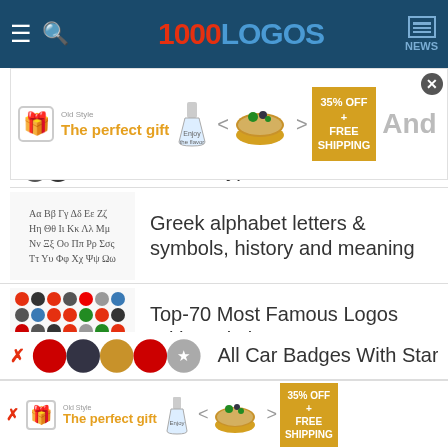1000LOGOS NEWS
[Figure (screenshot): Advertisement banner: 'The perfect gift' with food imagery and '35% OFF + FREE SHIPPING' badge]
monthly)
Greek alphabet letters & symbols, history and meaning
Top-70 Most Famous Logos With a Circle
Car Logos with Horse
All Car Badges With Star...
[Figure (screenshot): Bottom advertisement banner: 'The perfect gift' with food imagery and '35% OFF + FREE SHIPPING' badge]